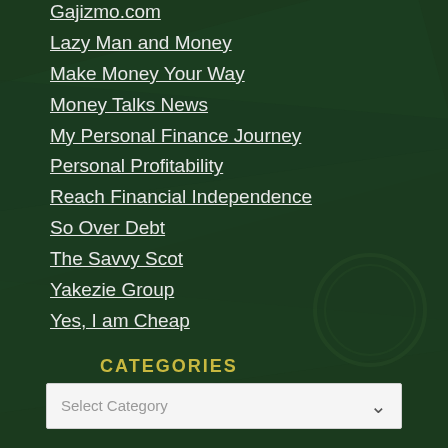Gajizmo.com
Lazy Man and Money
Make Money Your Way
Money Talks News
My Personal Finance Journey
Personal Profitability
Reach Financial Independence
So Over Debt
The Savvy Scot
Yakezie Group
Yes, I am Cheap
CATEGORIES
Select Category